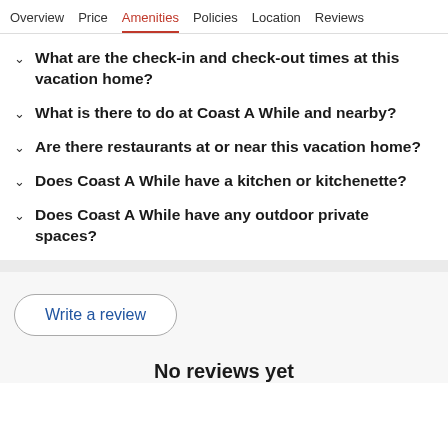Overview  Price  Amenities  Policies  Location  Reviews
What are the check-in and check-out times at this vacation home?
What is there to do at Coast A While and nearby?
Are there restaurants at or near this vacation home?
Does Coast A While have a kitchen or kitchenette?
Does Coast A While have any outdoor private spaces?
Write a review
No reviews yet